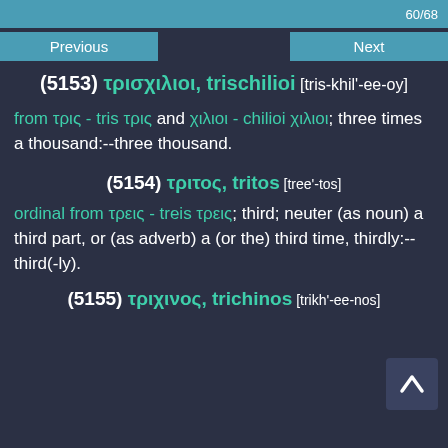60/68
(5153) τρισχιλιοι, trischilioi [tris-khil'-ee-oy]
from τρις - tris τρις and χιλιοι - chilioi χιλιοι; three times a thousand:--three thousand.
(5154) τριτος, tritos [tree'-tos]
ordinal from τρεις - treis τρεις; third; neuter (as noun) a third part, or (as adverb) a (or the) third time, thirdly:--third(-ly).
(5155) τριχινος, trichinos [trikh'-ee-nos]